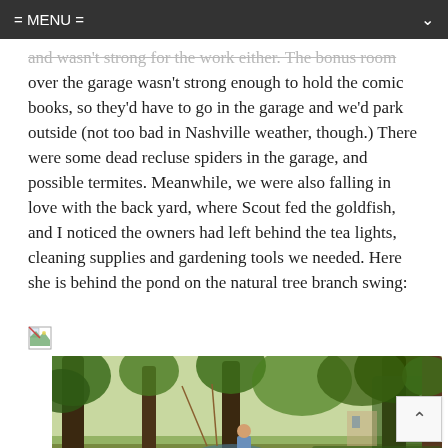= MENU =
and wasn't strong for the work either. The bonus room over the garage wasn't strong enough to hold the comic books, so they'd have to go in the garage and we'd park outside (not too bad in Nashville weather, though.) There were some dead recluse spiders in the garage, and possible termites. Meanwhile, we were also falling in love with the back yard, where Scout fed the goldfish, and I noticed the owners had left behind the tea lights, cleaning supplies and gardening tools we needed. Here she is behind the pond on the natural tree branch swing:
[Figure (photo): A person standing in a lush backyard garden with tall trees covered in ivy, near a pond area, with a natural tree branch swing visible. The scene shows a wooded backyard setting in Nashville.]